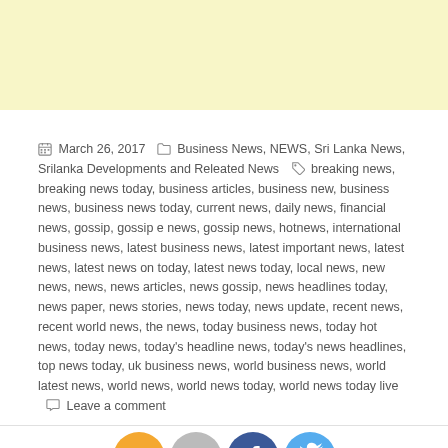[Figure (other): Yellow/cream colored advertisement banner at top of page]
March 26, 2017  Business News, NEWS, Sri Lanka News, Srilanka Developments and Releated News  breaking news, breaking news today, business articles, business new, business news, business news today, current news, daily news, financial news, gossip, gossip e news, gossip news, hotnews, international business news, latest business news, latest important news, latest news, latest news on today, latest news today, local news, new news, news, news articles, news gossip, news headlines today, news paper, news stories, news today, news update, recent news, recent world news, the news, today business news, today hot news, today news, today's headline news, today's news headlines, top news today, uk business news, world business news, world latest news, world news, world news today, world news today live  Leave a comment
[Figure (infographic): Four social media circular icon buttons: RSS (orange), Follow (gray), Facebook (blue), Twitter (light blue)]
Car registrations down by